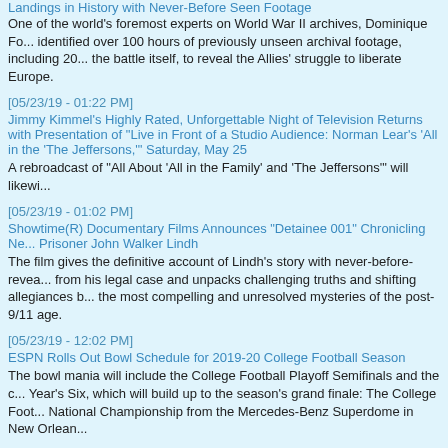Landings in History with Never-Before Seen Footage
One of the world's foremost experts on World War II archives, Dominique Fo... identified over 100 hours of previously unseen archival footage, including 20... the battle itself, to reveal the Allies' struggle to liberate Europe.
[05/23/19 - 01:22 PM]
Jimmy Kimmel's Highly Rated, Unforgettable Night of Television Returns with Presentation of "Live in Front of a Studio Audience: Norman Lear's 'All in the 'The Jeffersons,'" Saturday, May 25
A rebroadcast of "All About 'All in the Family' and 'The Jeffersons'" will likewi...
[05/23/19 - 01:02 PM]
Showtime(R) Documentary Films Announces "Detainee 001" Chronicling Ne... Prisoner John Walker Lindh
The film gives the definitive account of Lindh's story with never-before-revea... from his legal case and unpacks challenging truths and shifting allegiances b... the most compelling and unresolved mysteries of the post-9/11 age.
[05/23/19 - 12:02 PM]
ESPN Rolls Out Bowl Schedule for 2019-20 College Football Season
The bowl mania will include the College Football Playoff Semifinals and the c... Year's Six, which will build up to the season's grand finale: The College Foot... National Championship from the Mercedes-Benz Superdome in New Orlean...
[05/23/19 - 12:01 PM]
HBO and BBC Renew "Gentleman Jack" for a Second Season
The series tells the story of Anne Lister, a woman who had a passion for life... for business, and bucked society's expectations at every turn.